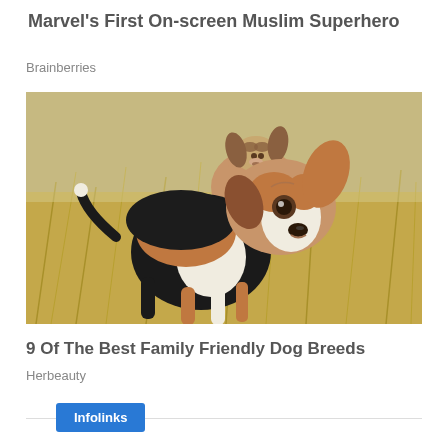Marvel's First On-screen Muslim Superhero
Brainberries
[Figure (photo): Two beagle puppies running through dry golden grass, the closer one looking directly at camera with ear raised]
9 Of The Best Family Friendly Dog Breeds
Herbeauty
Infolinks